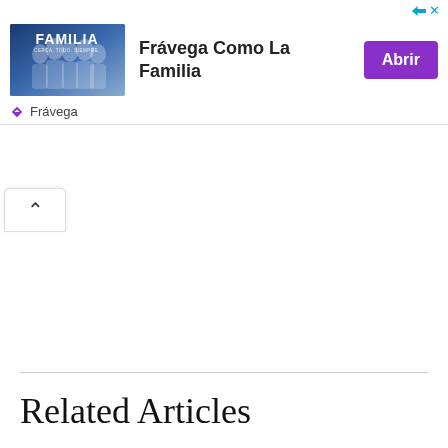[Figure (other): Advertisement banner for Frávega showing 'FAMILIA' image with people, text 'Frávega Como La Familia', and a purple 'Abrir' button. Brand name 'Frávega' shown below with icon.]
[Figure (other): Collapse/chevron-up button UI element]
Related Articles